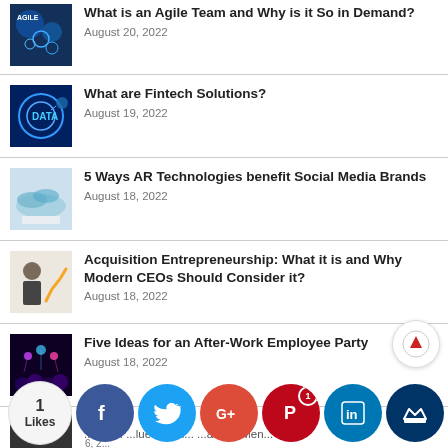What is an Agile Team and Why is it So in Demand? — August 20, 2022
What are Fintech Solutions? — August 19, 2022
5 Ways AR Technologies benefit Social Media Brands — August 18, 2022
Acquisition Entrepreneurship: What it is and Why Modern CEOs Should Consider it? — August 18, 2022
Five Ideas for an After-Work Employee Party — August 18, 2022
[partial] ...ssist... ...luet... Sm... ...atch... Men... — August 16, 2...